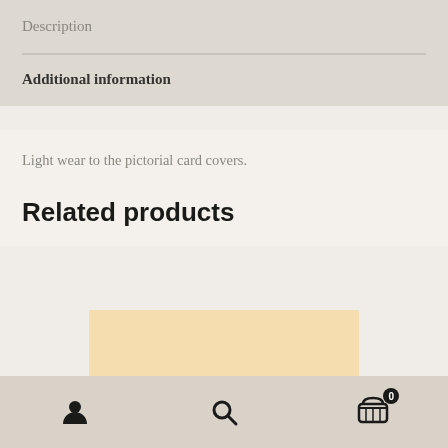Description
Additional information
Light wear to the pictorial card covers.
Related products
[Figure (photo): Placeholder product image in light peach/cream color]
Navigation bar with user account icon, search icon, and cart icon with badge showing 0